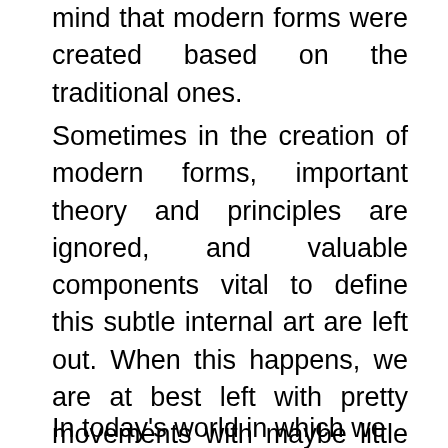mind that modern forms were created based on the traditional ones.
Sometimes in the creation of modern forms, important theory and principles are ignored, and valuable components vital to define this subtle internal art are left out. When this happens, we are at best left with pretty movements with maybe little or no substance.
In today's world in which we